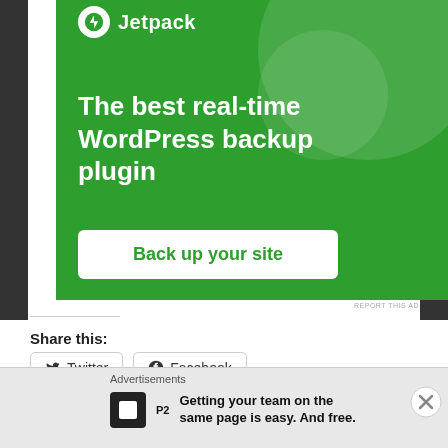[Figure (screenshot): Jetpack advertisement banner with green background, Jetpack logo, headline 'The best real-time WordPress backup plugin', and white button 'Back up your site']
REPORT THIS AD
Share this:
Twitter
Facebook
Loading…
Advertisements
Getting your team on the same page is easy. And free.